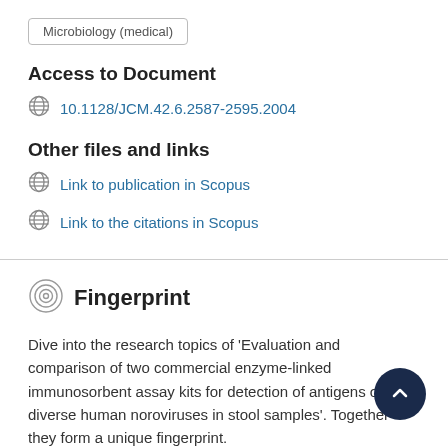Microbiology (medical)
Access to Document
10.1128/JCM.42.6.2587-2595.2004
Other files and links
Link to publication in Scopus
Link to the citations in Scopus
Fingerprint
Dive into the research topics of 'Evaluation and comparison of two commercial enzyme-linked immunosorbent assay kits for detection of antigens of diverse human noroviruses in stool samples'. Together they form a unique fingerprint.